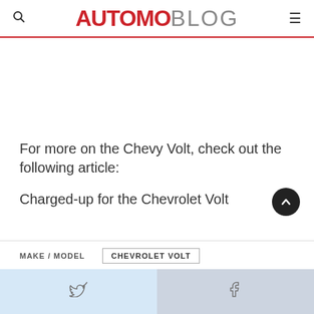AUTOMOBLOG
For more on the Chevy Volt, check out the following article:
Charged-up for the Chevrolet Volt
| MAKE / MODEL |  |
| --- | --- |
| MAKE / MODEL | CHEVROLET VOLT |